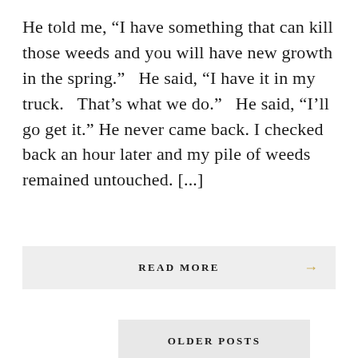He told me, “I have something that can kill those weeds and you will have new growth in the spring.”  He said, “I have it in my truck.  That’s what we do.”  He said, “I’ll go get it.” He never came back. I checked back an hour later and my pile of weeds remained untouched. [...]
READ MORE →
OLDER POSTS